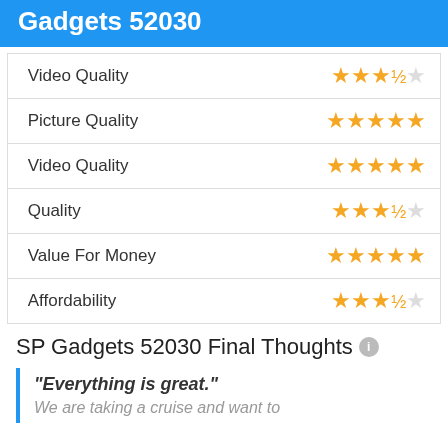Gadgets 52030
| Category | Rating |
| --- | --- |
| Video Quality | 3.5/5 |
| Picture Quality | 5/5 |
| Video Quality | 5/5 |
| Quality | 3.5/5 |
| Value For Money | 5/5 |
| Affordability | 3.5/5 |
SP Gadgets 52030 Final Thoughts
"Everything is great."
We are taking a cruise and want to